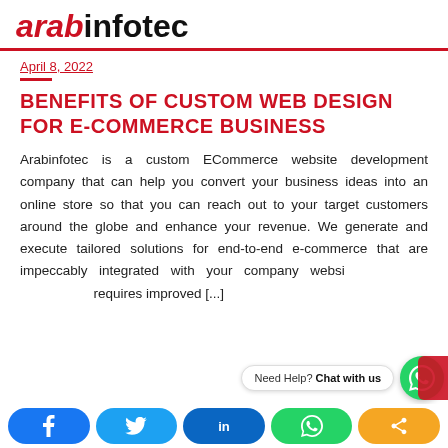arabinfotec
April 8, 2022
BENEFITS OF CUSTOM WEB DESIGN FOR E-COMMERCE BUSINESS
Arabinfotec is a custom ECommerce website development company that can help you convert your business ideas into an online store so that you can reach out to your target customers around the globe and enhance your revenue. We generate and execute tailored solutions for end-to-end e-commerce that are impeccably integrated with your company website and requires improved [...]